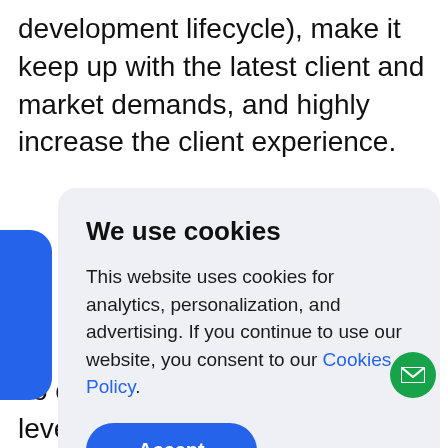development lifecycle), make it keep up with the latest client and market demands, and highly increase the client experience.
We use cookies

This website uses cookies for analytics, personalization, and advertising. If you continue to use our website, you consent to our Cookies Policy.

Accept
To complete a project of such a level of